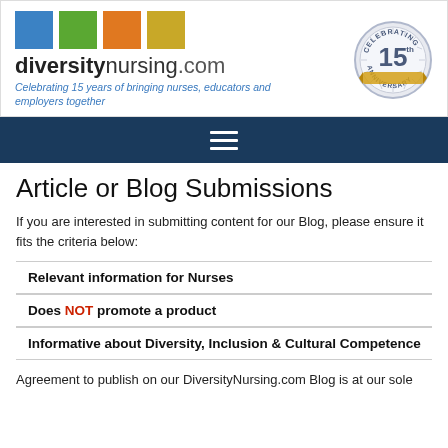[Figure (logo): DiversityNursing.com logo with four colored squares (blue, green, orange, gold), bold logotype 'diversitynursing.com', italic tagline 'Celebrating 15 years of bringing nurses, educators and employers together', and a 15th Anniversary badge/seal on the right.]
[Figure (other): Dark navy navigation bar with a hamburger menu icon (three horizontal white lines) centered.]
Article or Blog Submissions
If you are interested in submitting content for our Blog, please ensure it fits the criteria below:
Relevant information for Nurses
Does NOT promote a product
Informative about Diversity, Inclusion & Cultural Competence
Agreement to publish on our DiversityNursing.com Blog is at our sole